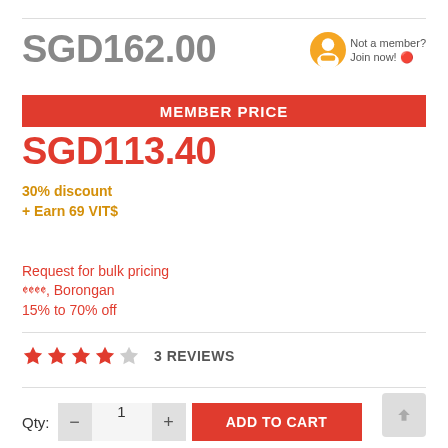SGD162.00
[Figure (logo): VIP badge icon with person silhouette in orange circle]
Not a member? Join now!
MEMBER PRICE
SGD113.40
30% discount
+ Earn 69 VIT$
Request for bulk pricing
𝄥𝄥𝄥𝄥, Borongan
15% to 70% off
3 REVIEWS
Qty:  −  1  +  ADD TO CART